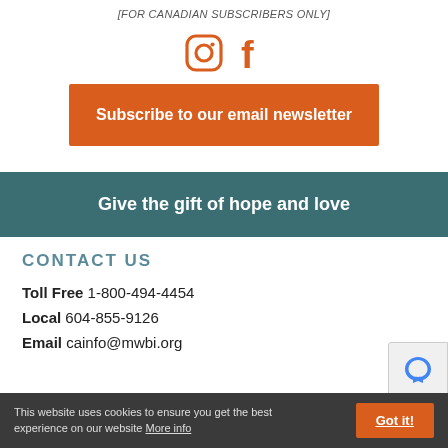[FOR CANADIAN SUBSCRIBERS ONLY]
[Figure (illustration): Instagram and Facebook icons in orange]
Subscribe to our email newsletter
Give the gift of hope and love
CONTACT US
Toll Free 1-800-494-4454
Local 604-855-9126
Email cainfo@mwbi.org
This website uses cookies to ensure you get the best experience on our website More info
Got it!